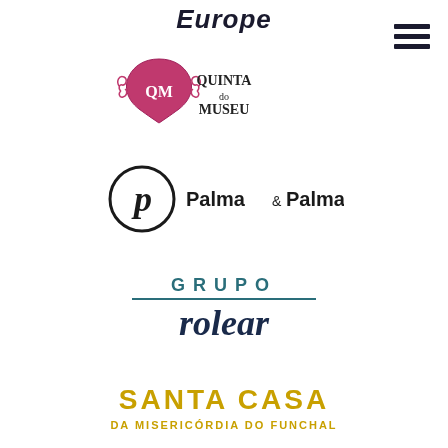Europe
[Figure (logo): Quinta do Museu logo — pink/magenta shield emblem with QM monogram and decorative scrolls, with 'QUINTA do MUSEU' text to the right]
[Figure (logo): Palma & Palma logo — black circle outline with stylized P letter inside, followed by 'Palma & Palma' text]
[Figure (logo): Grupo Rolear logo — 'GRUPO' in dark teal spaced capitals with horizontal line beneath, 'rolear' in large dark navy bold italic serif]
[Figure (logo): Santa Casa da Misericórdia do Funchal logo — 'SANTA CASA' in large gold/yellow bold letters, 'DA MISERICÓRDIA DO FUNCHAL' in smaller gold letters below]